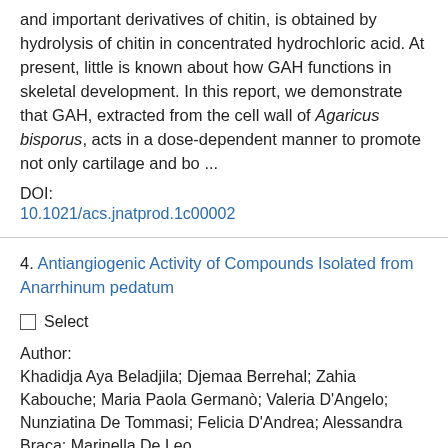and important derivatives of chitin, is obtained by hydrolysis of chitin in concentrated hydrochloric acid. At present, little is known about how GAH functions in skeletal development. In this report, we demonstrate that GAH, extracted from the cell wall of Agaricus bisporus, acts in a dose-dependent manner to promote not only cartilage and bo ...
DOI:
10.1021/acs.jnatprod.1c00002
4. Antiangiogenic Activity of Compounds Isolated from Anarrhinum pedatum
Select
Author:
Khadidja Aya Beladjila; Djemaa Berrehal; Zahia Kabouche; Maria Paola Germanò; Valeria D'Angelo; Nunziatina De Tommasi; Felicia D'Andrea; Alessandra Braca; Marinella De Leo
Source: